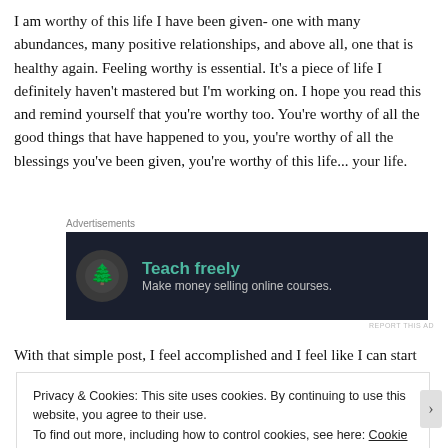I am worthy of this life I have been given- one with many abundances, many positive relationships, and above all, one that is healthy again. Feeling worthy is essential. It's a piece of life I definitely haven't mastered but I'm working on. I hope you read this and remind yourself that you're worthy too. You're worthy of all the good things that have happened to you, you're worthy of all the blessings you've been given, you're worthy of this life... your life.
Advertisements
[Figure (infographic): Dark banner ad with tree/bonsai icon and text 'Teach freely — Make money selling online courses.']
With that simple post, I feel accomplished and I feel like I can start
Privacy & Cookies: This site uses cookies. By continuing to use this website, you agree to their use.
To find out more, including how to control cookies, see here: Cookie Policy
Close and accept